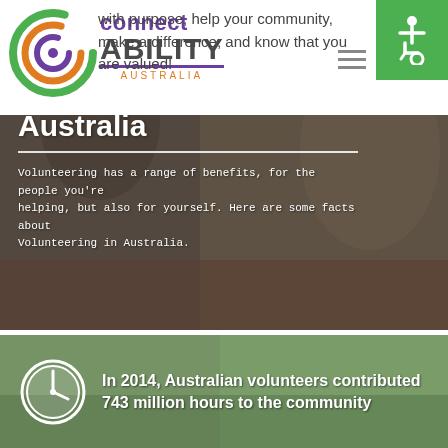with purpose, help your community, make a difference, and know that you are valued!
[Figure (logo): ConnectAbility Australia logo with spiral swirl and text]
[Figure (logo): Green accessibility icon box (wheelchair symbol)]
[Figure (photo): Group of people including elderly and young adults looking at a laptop together]
Volunteering in Australia
Volunteering has a range of benefits, for the people you're helping, but also for yourself. Here are some facts about Volunteering in Australia.
[Figure (photo): People gardening outdoors with plants, with clock icon overlay]
In 2014, Australian volunteers contributed 743 million hours to the community